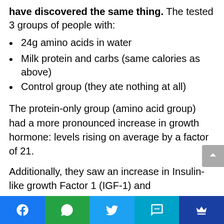have discovered the same thing. The tested 3 groups of people with:
24g amino acids in water
Milk protein and carbs (same calories as above)
Control group (they ate nothing at all)
The protein-only group (amino acid group) had a more pronounced increase in growth hormone: levels rising on average by a factor of 21.
Additionally, they saw an increase in Insulin-like growth Factor 1 (IGF-1) and